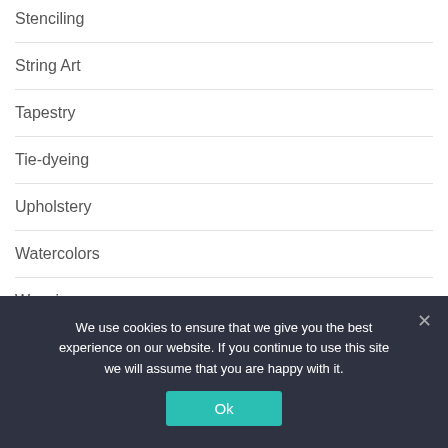Stenciling
String Art
Tapestry
Tie-dyeing
Upholstery
Watercolors
Weaving
Wire Art
We use cookies to ensure that we give you the best experience on our website. If you continue to use this site we will assume that you are happy with it.
Ok